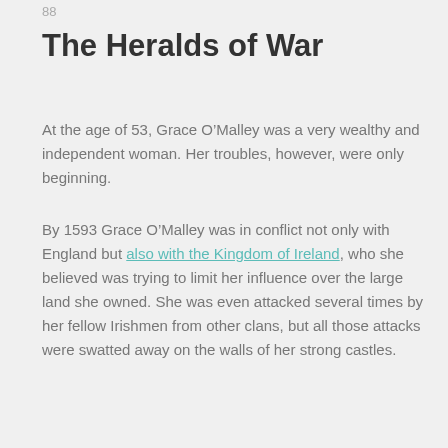88
The Heralds of War
At the age of 53, Grace O’Malley was a very wealthy and independent woman. Her troubles, however, were only beginning.
By 1593 Grace O’Malley was in conflict not only with England but also with the Kingdom of Ireland, who she believed was trying to limit her influence over the large land she owned. She was even attacked several times by her fellow Irishmen from other clans, but all those attacks were swatted away on the walls of her strong castles.